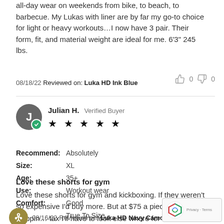all-day wear on weekends from bike, to beach, to barbecue. My Lukas with liner are by far my go-to choice for light or heavy workouts…I now have 3 pair. Their form, fit, and material weight are ideal for me. 6'3" 245 lbs.
08/18/22 Reviewed on: Luka HD Ink Blue
👍 0   👎 0
Julian H. Verified Buyer ★★★★★
Recommend: Absolutely
Size: XL
Age: 35+
Use: Workout wear
Comfort: Good
FIT: True To Size
Love these shorts for gym
Love these shorts for gym and kickboxing. If they weren't so expensive I'd buy more. But at $75 a piece with shipping tax I'll have to look else where for similar products.
08/16/22 Reviewed on: Luka HD Navy Camo